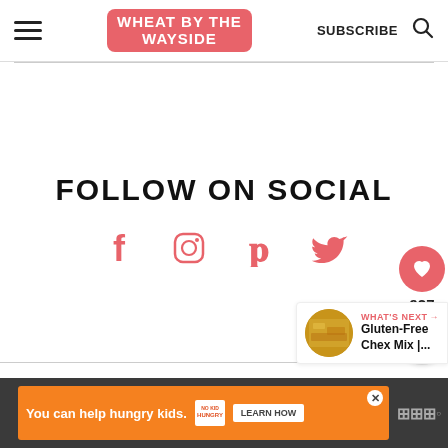WHEAT BY THE WAYSIDE | SUBSCRIBE
FOLLOW ON SOCIAL
[Figure (infographic): Social media icons: Facebook, Instagram, Pinterest, Twitter in coral/pink color]
[Figure (infographic): Side buttons: heart icon with 927 count, share icon]
[Figure (infographic): What's Next promo: Gluten-Free Chex Mix with food thumbnail]
You can help hungry kids. NO KID HUNGRY LEARN HOW